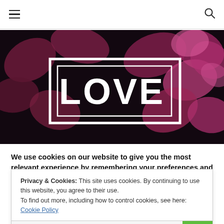Navigation header with hamburger menu and search icon
[Figure (photo): Dark background with pink/purple flower petals and white text 'LOVE' inside a white rectangle frame]
We use cookies on our website to give you the most relevant experience by remembering your preferences and repeat
Privacy & Cookies: This site uses cookies. By continuing to use this website, you agree to their use. To find out more, including how to control cookies, see here: Cookie Policy
Close and accept